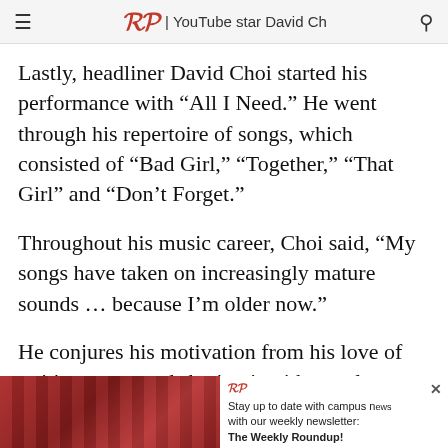DP | YouTube star David Ch
Lastly, headliner David Choi started his performance with “All I Need.” He went through his repertoire of songs, which consisted of “Bad Girl,” “Together,” “That Girl” and “Don’t Forget.”
Throughout his music career, Choi said, “My songs have taken on increasingly mature sounds … because I’m older now.”
He conjures his motivation from his love of writing songs and sharing it with people to help
[Figure (photo): Advertisement banner showing crowd of people in red shirts with overlay text: Stay up to date with campus news with our weekly newsletter: The Weekly Roundup!]